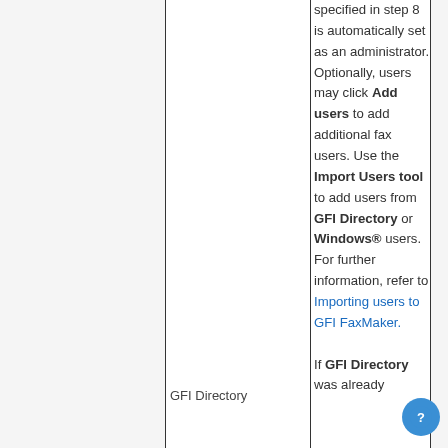specified in step 8 is automatically set as an administrator. Optionally, users may click Add users to add additional fax users. Use the Import Users tool to add users from GFI Directory or Windows® users. For further information, refer to Importing users to GFI FaxMaker. If GFI Directory was already
GFI Directory